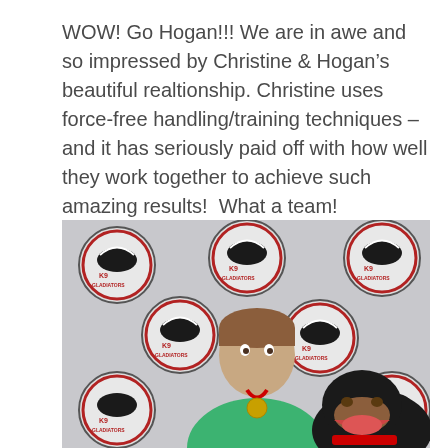WOW! Go Hogan!!! We are in awe and so impressed by Christine & Hogan's beautiful realtionship. Christine uses force-free handling/training techniques – and it has seriously paid off with how well they work together to achieve such amazing results!  What a team!
[Figure (photo): A woman wearing a green shirt and red medal stands in front of a backdrop covered with K9 Gladiators logos (circular emblems with a dog silhouette). Beside her is a Rottweiler dog with its mouth open.]